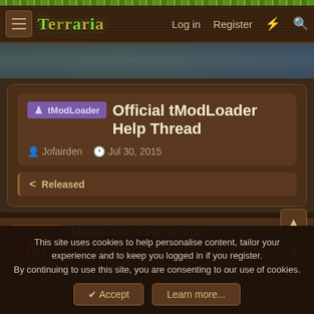Terraria | Log in | Register
tModLoader Official tModLoader Help Thread
Jofairden · Jul 30, 2015
Released
ModsCanFixSomeParts
Terrarian
This site uses cookies to help personalise content, tailor your experience and to keep you logged in if you register. By continuing to use this site, you are consenting to our use of cookies.
Accept
Learn more...